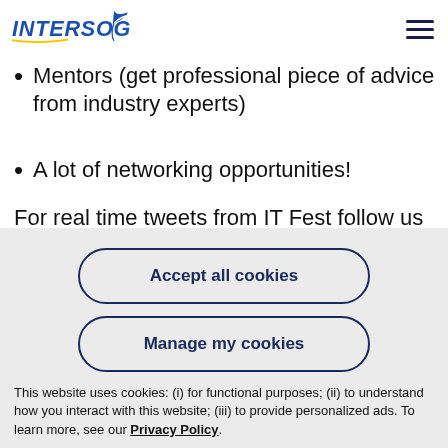INTERSOG
Mentors (get professional piece of advice from industry experts)
A lot of networking opportunities!
For real time tweets from IT Fest follow us in twitter:
Accept all cookies
Manage my cookies
This website uses cookies: (i) for functional purposes; (ii) to understand how you interact with this website; (iii) to provide personalized ads. To learn more, see our Privacy Policy.